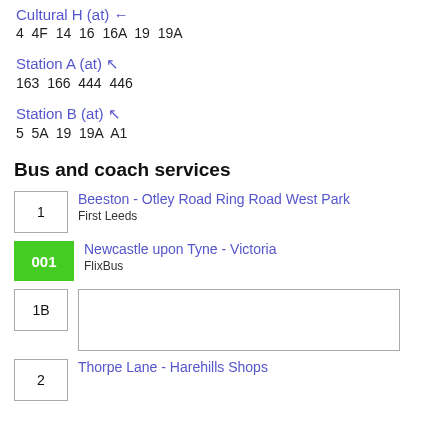Cultural H (at) ←
4  4F  14  16  16A  19  19A
Station A (at) ↖
163  166  444  446
Station B (at) ↖
5  5A  19  19A  A1
Bus and coach services
1 — Beeston - Otley Road Ring Road West Park
First Leeds
001 — Newcastle upon Tyne - Victoria
FlixBus
1B
2 — Thorpe Lane - Harehills Shops